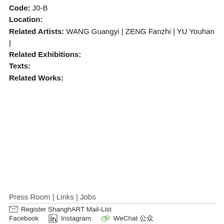Code: J0-B
Location:
Related Artists: WANG Guangyi | ZENG Fanzhi | YU Youhan |
Related Exhibitions:
Texts:
Related Works:
Press Room | Links | Jobs
Register ShanghART Mail-List
Facebook    Instagram    WeChat 公众